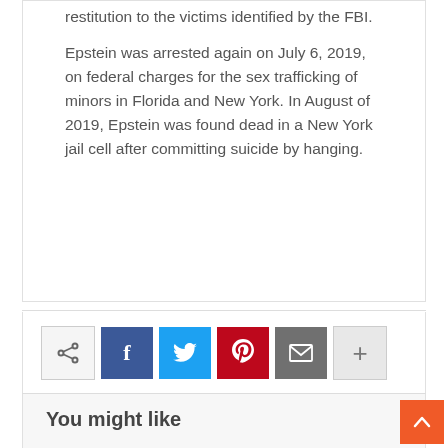restitution to the victims identified by the FBI.
Epstein was arrested again on July 6, 2019, on federal charges for the sex trafficking of minors in Florida and New York. In August of 2019, Epstein was found dead in a New York jail cell after committing suicide by hanging.
[Figure (infographic): Social media share bar with icons for share, Facebook, Twitter, Pinterest, email, and a plus/more button]
You might like